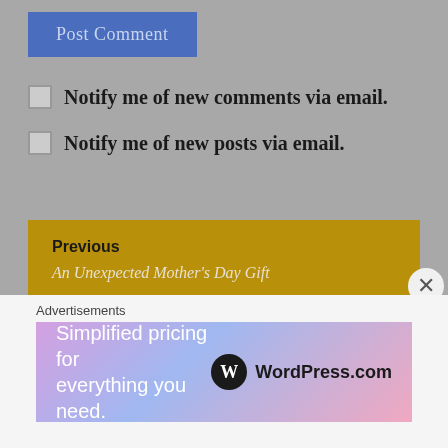[Figure (screenshot): Blue 'Post Comment' button]
Notify me of new comments via email.
Notify me of new posts via email.
Previous — An Unexpected Mother's Day Gift
Next — How's My Parenting? Please call 1-800
Advertisements
[Figure (infographic): WordPress.com advertisement banner: Simplified pricing for everything you need.]